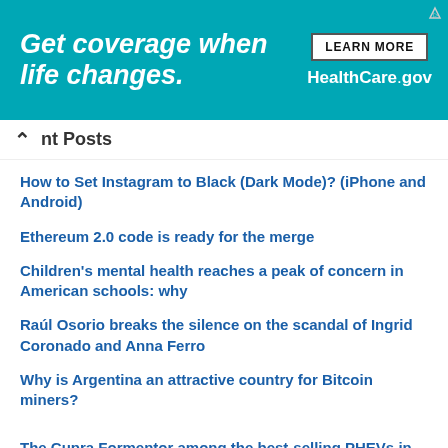[Figure (other): Advertisement banner: 'Get coverage when life changes. LEARN MORE HealthCare.gov' on teal background]
Recent Posts
How to Set Instagram to Black (Dark Mode)? (iPhone and Android)
Ethereum 2.0 code is ready for the merge
Children's mental health reaches a peak of concern in American schools: why
Raúl Osorio breaks the silence on the scandal of Ingrid Coronado and Anna Ferro
Why is Argentina an attractive country for Bitcoin miners?
The Cupra Formentor among the best-selling PHEVs in Europe
March 25, 2022
when VW wanted to have its own Veyron